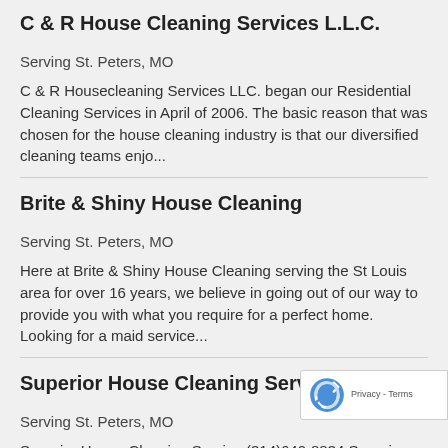C & R House Cleaning Services L.L.C.
Serving St. Peters, MO
C & R Housecleaning Services LLC. began our Residential Cleaning Services in April of 2006. The basic reason that was chosen for the house cleaning industry is that our diversified cleaning teams enjo...
Brite & Shiny House Cleaning
Serving St. Peters, MO
Here at Brite & Shiny House Cleaning serving the St Louis area for over 16 years, we believe in going out of our way to provide you with what you require for a perfect home. Looking for a maid service...
Superior House Cleaning Service
Serving St. Peters, MO
Superior House Cleaning Service (314)640-8834 Superior House Cleaning Service has been in business for 7 years.We are your premier choice for your residential and commercial projects. Your